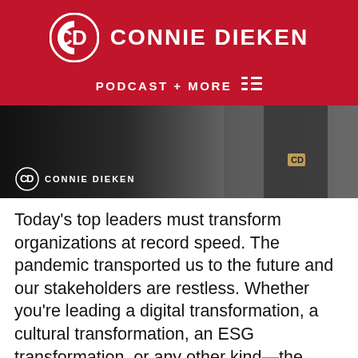CONNIE DIEKEN PODCAST + MORE
[Figure (photo): A woman in a black outfit with a CD belt buckle, photo strip with Connie Dieken logo overlay]
Today's top leaders must transform organizations at record speed. The pandemic transported us to the future and our stakeholders are restless. Whether you're leading a digital transformation, a cultural transformation, an ESG transformation, or any other kind—the future is here. Influential leaders don't play